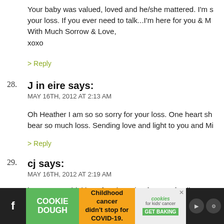Your baby was valued, loved and he/she mattered. I'm s your loss. If you ever need to talk...I'm here for you & M With Much Sorrow & Love, xoxo
> Reply
28. J in eire says: MAY 16TH, 2012 AT 2:13 AM
Oh Heather I am so so sorry for your loss. One heart sh bear so much loss. Sending love and light to you and Mi
> Reply
29. cj says: MAY 16TH, 2012 AT 2:19 AM
i'm so sorry. thinking of and praying for your family.
> Reply
30. Sarah says:
[Figure (screenshot): Advertisement banner: Cookie Dough / Childhood cancer didn't stop for COVID-19 / cookies for kids' cancer GET BAKING]